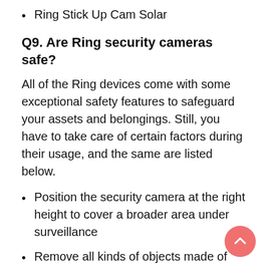Ring Stick Up Cam Solar
Q9. Are Ring security cameras safe?
All of the Ring devices come with some exceptional safety features to safeguard your assets and belongings. Still, you have to take care of certain factors during their usage, and the same are listed below.
Position the security camera at the right height to cover a broader area under surveillance
Remove all kinds of objects made of wood, metal, glass, cement, or plastic that are coming in the way of the security camera and the receiver. This needs to be done to